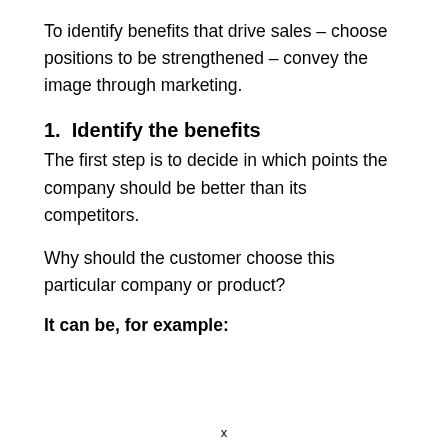To identify benefits that drive sales – choose positions to be strengthened – convey the image through marketing.
1.  Identify the benefits
The first step is to decide in which points the company should be better than its competitors.
Why should the customer choose this particular company or product?
It can be, for example:
x